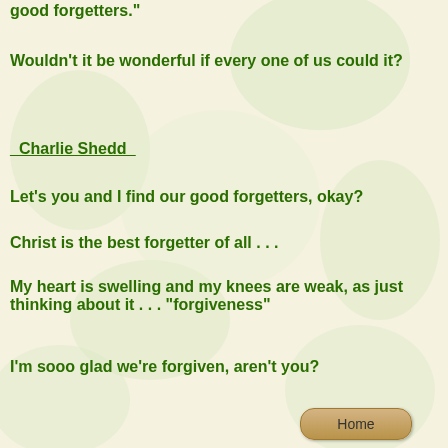good forgetters."
Wouldn't it be wonderful if every one of us could it?
_Charlie Shedd_
Let's you and I find our good forgetters, okay?
Christ is the best forgetter of all . . .
My heart is swelling and my knees are weak, as just thinking about it . . . "forgiveness"
I'm sooo glad we're forgiven, aren't you?
[Figure (other): Home button navigation element]